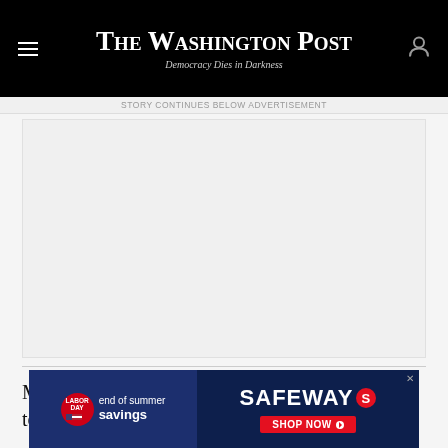The Washington Post — Democracy Dies in Darkness
Story continues below advertisement
[Figure (other): Large advertisement placeholder box with light gray background]
Moreover, existing hog facilities are not required to
[Figure (other): Safeway Labor Day end of summer savings advertisement banner at the bottom of the page]